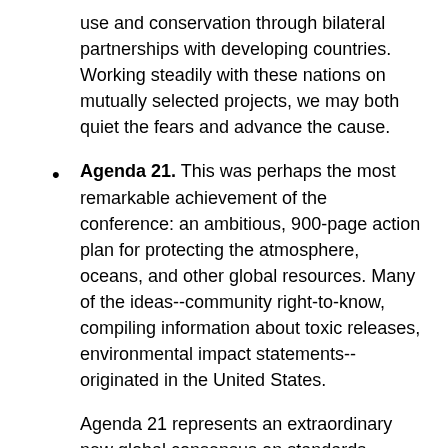use and conservation through bilateral partnerships with developing countries. Working steadily with these nations on mutually selected projects, we may both quiet the fears and advance the cause.
Agenda 21. This was perhaps the most remarkable achievement of the conference: an ambitious, 900-page action plan for protecting the atmosphere, oceans, and other global resources. Many of the ideas--community right-to-know, compiling information about toxic releases, environmental impact statements--originated in the United States.
Agenda 21 represents an extraordinary new global consensus on standards against which to measure the environmental performance of governments. No doubt the press, non-governmental groups, and the business community will mine these documents for years to come. The human rights commitments of the 1970s